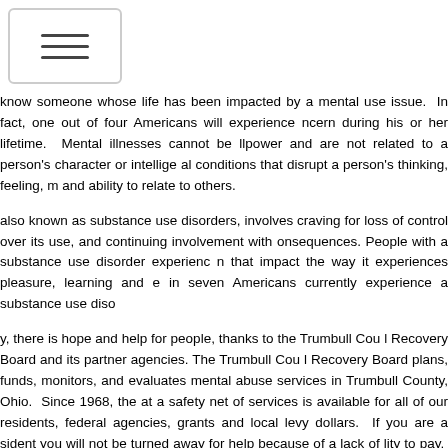Navigation menu icon (hamburger button)
know someone whose life has been impacted by a mental use issue. In fact, one out of four Americans will experience ncern during his or her lifetime. Mental illnesses cannot be llpower and are not related to a person's character or intellige al conditions that disrupt a person's thinking, feeling, m and ability to relate to others.
also known as substance use disorders, involves craving for loss of control over its use, and continuing involvement with onsequences. People with a substance use disorder experienc n that impact the way it experiences pleasure, learning and e in seven Americans currently experience a substance use diso
y, there is hope and help for people, thanks to the Trumbull Cou l Recovery Board and its partner agencies. The Trumbull Cou l Recovery Board plans, funds, monitors, and evaluates mental abuse services in Trumbull County, Ohio. Since 1968, the at a safety net of services is available for all of our residents, federal agencies, grants and local levy dollars. If you are a sident you will not be turned away for help because of a lack of lity to pay. Please contact one of our provider agencies direct alth and addiction agencies" link to get the help you need.